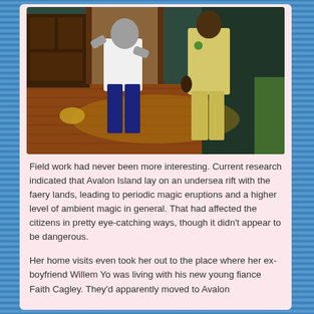[Figure (screenshot): A screenshot from The Sims 3 video game showing two characters standing in a room with wood flooring and dark furniture. One character wears a white long-sleeve top and dark blue pants with gray/dark skin, and the other wears a yellow outfit. They appear to be interacting.]
Field work had never been more interesting. Current research indicated that Avalon Island lay on an undersea rift with the faery lands, leading to periodic magic eruptions and a higher level of ambient magic in general. That had affected the citizens in pretty eye-catching ways, though it didn't appear to be dangerous.
Her home visits even took her out to the place where her ex-boyfriend Willem Yo was living with his new young fiance Faith Cagley. They'd apparently moved to Avalon